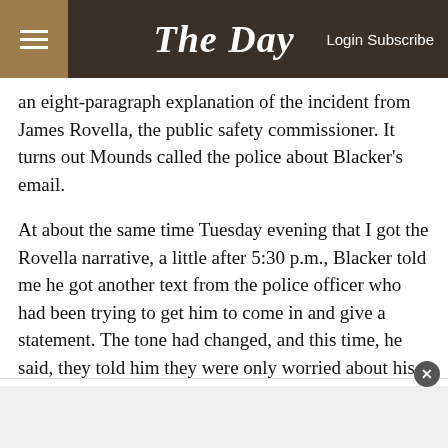The Day — Login Subscribe
an eight-paragraph explanation of the incident from James Rovella, the public safety commissioner. It turns out Mounds called the police about Blacker's email.
At about the same time Tuesday evening that I got the Rovella narrative, a little after 5:30 p.m., Blacker told me he got another text from the police officer who had been trying to get him to come in and give a statement. The tone had changed, and this time, he said, they told him they were only worried about his safety.
Blacker's safety was also the reason given by Commissioner